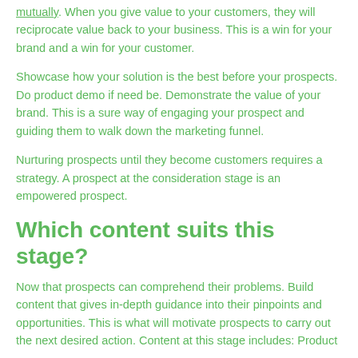mutually. When you give value to your customers, they will reciprocate value back to your business. This is a win for your brand and a win for your customer.
Showcase how your solution is the best before your prospects. Do product demo if need be. Demonstrate the value of your brand. This is a sure way of engaging your prospect and guiding them to walk down the marketing funnel.
Nurturing prospects until they become customers requires a strategy. A prospect at the consideration stage is an empowered prospect.
Which content suits this stage?
Now that prospects can comprehend their problems. Build content that gives in-depth guidance into their pinpoints and opportunities. This is what will motivate prospects to carry out the next desired action. Content at this stage includes: Product